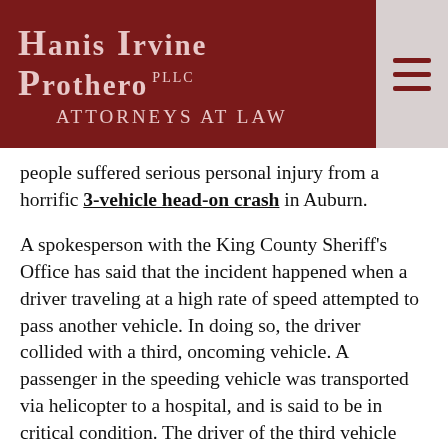Hanis Irvine Prothero PLLC — Attorneys At Law
people suffered serious personal injury from a horrific 3-vehicle head-on crash in Auburn.
A spokesperson with the King County Sheriff's Office has said that the incident happened when a driver traveling at a high rate of speed attempted to pass another vehicle. In doing so, the driver collided with a third, oncoming vehicle. A passenger in the speeding vehicle was transported via helicopter to a hospital, and is said to be in critical condition. The driver of the third vehicle suffered serious injuries and was also taken by air to the same hospital.
A resident living near the accident site has said he often witnesses drivers traveling well over the speed limit on his street and that this incident was the